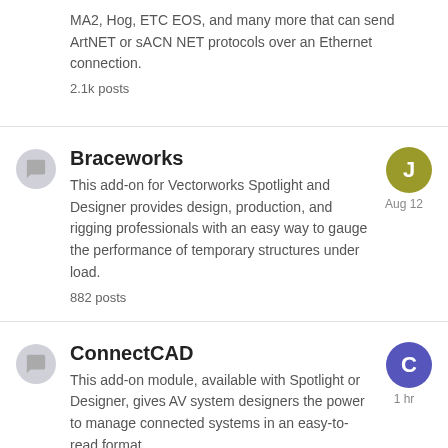MA2, Hog, ETC EOS, and many more that can send ArtNET or sACN NET protocols over an Ethernet connection.
2.1k posts
Braceworks
This add-on for Vectorworks Spotlight and Designer provides design, production, and rigging professionals with an easy way to gauge the performance of temporary structures under load.
882 posts
ConnectCAD
This add-on module, available with Spotlight or Designer, gives AV system designers the power to manage connected systems in an easy-to-read format.
2k posts
Rendering